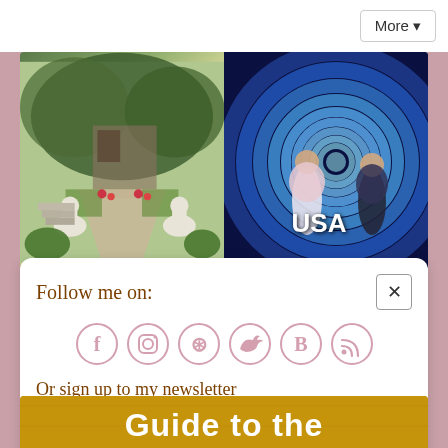[Figure (screenshot): More button in top navigation bar]
[Figure (photo): Two-panel photo strip: left shows a garden path with white stone animals and stairs; right shows two women posing in front of a blue swirling vortex background with text 'USA']
Follow me on:
[Figure (infographic): Row of social media icons in pink circles: Facebook, Instagram, Pinterest, Twitter, Bloglovin, RSS]
Or sign up to my newsletter
Subscribe  Sign Up!
[Figure (photo): Bottom image strip with bold white text 'Guide to the']